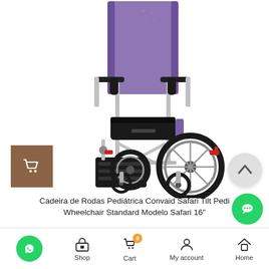[Figure (photo): Pediatric wheelchair - Convaid Safari Tilt Pedi, with purple fabric back and seat cushion, silver aluminum frame, black armrests, large rear wheels, small front caster wheels, black footrest platform, red brake mechanism visible on frame.]
Cadeira de Rodas Pediátrica Convaid Safari Tilt Pedi Wheelchair Standard Modelo Safari 16"
Shop | Cart 0 | My account | Home